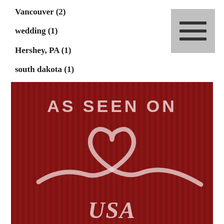Vancouver (2)
wedding (1)
Hershey, PA (1)
south dakota (1)
[Figure (illustration): Red vertically-striped background with white ribbon forming a heart shape in the center. Text reads 'AS SEEN ON' at the top and 'USA' at the bottom in large serif italic font, all in light pink/white color.]